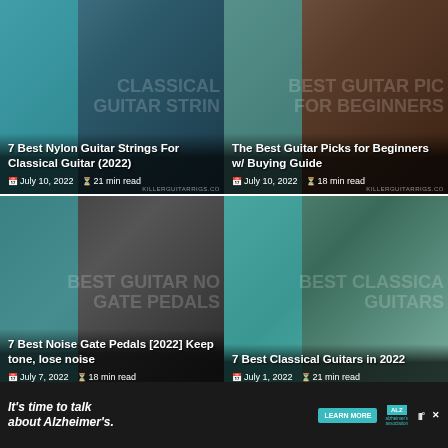[Figure (screenshot): Blog post card: 7 Best Nylon Guitar Strings For Classical Guitar (2022), July 10 2022, 21 min read]
[Figure (screenshot): Blog post card: The Best Guitar Picks for Beginners w/ Buying Guide, July 10 2022, 18 min read]
[Figure (screenshot): Blog post card: 7 Best Noise Gate Pedals [2022] Keep tone, lose noise, July 7 2022, 18 min read]
[Figure (screenshot): Blog post card: 7 Best Classical Guitars in 2022, July 1 2022, 21 min read]
[Figure (screenshot): Blog post card: 20 Best Free Amp Sims/Plugins For Guitarists [2022], June 30 2022, 24 min read]
[Figure (screenshot): Blog post card: 7 Best Les Paul Pickups by Genre [2022], June 29 2022, 21 min read]
It's time to talk about Alzheimer's. LEARN MORE